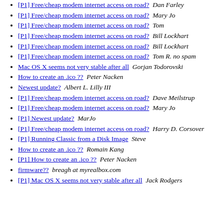[P1] Free/cheap modem internet access on road?  Dan Farley
[P1] Free/cheap modem internet access on road?  Mary Jo
[P1] Free/cheap modem internet access on road?  Tom
[P1] Free/cheap modem internet access on road?  Bill Lockhart
[P1] Free/cheap modem internet access on road?  Bill Lockhart
[P1] Free/cheap modem internet access on road?  Tom R. no spam
Mac OS X seems not very stable after all  Gorjan Todorovski
How to create an .ico ??  Peter Nacken
Newest update?  Albert L. Lilly III
[P1] Free/cheap modem internet access on road?  Dave Meilstrup
[P1] Free/cheap modem internet access on road?  Mary Jo
[P1] Newest update?  MarJo
[P1] Free/cheap modem internet access on road?  Harry D. Corsover
[P1] Running Classic from a Disk Image  Steve
How to create an .ico ??  Romain Kang
[P1] How to create an .ico ??  Peter Nacken
firmware??  breagh at myrealbox.com
[P1] Mac OS X seems not very stable after all  Jack Rodgers